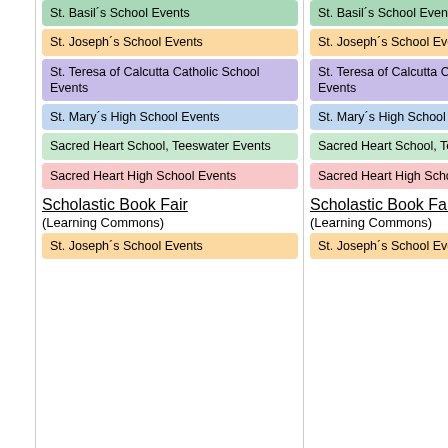St. Basil´s School Events
St. Joseph´s School Events
St. Teresa of Calcutta Catholic School Events
St. Mary´s High School Events
Sacred Heart School, Teeswater Events
Sacred Heart High School Events
Scholastic Book Fair
(Learning Commons)
St. Joseph´s School Events
St. Basil´s School Events
St. Joseph´s School Events
St. Teresa of Calcutta Catholic School Events
St. Mary´s High School Events
Sacred Heart School, Teeswater Events
Sacred Heart High School Events
Scholastic Book Fair
(Learning Commons)
St. Joseph´s School Events